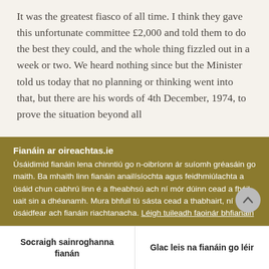It was the greatest fiasco of all time. I think they gave this unfortunate committee £2,000 and told them to do the best they could, and the whole thing fizzled out in a week or two. We heard nothing since but the Minister told us today that no planning or thinking went into that, but there are his words of 4th December, 1974, to prove the situation beyond all
Fianáin ar oireachtas.ie
Úsáidimid fianáin lena chinntiú go n-oibríonn ár suíomh gréasáin go maith. Ba mhaith linn fianáin anailísíochta agus feidhmiúlachta a úsáid chun cabhrú linn é a fheabhsú ach ní mór dúinn cead a fháil uait sin a dhéanamh. Mura bhfuil tú sásta cead a thabhairt, ní úsáidfear ach fianáin riachtanacha. Léigh tuileadh faoinár bhfianáin
Socraigh sainroghanna fianán
Glac leis na fianáin go léir